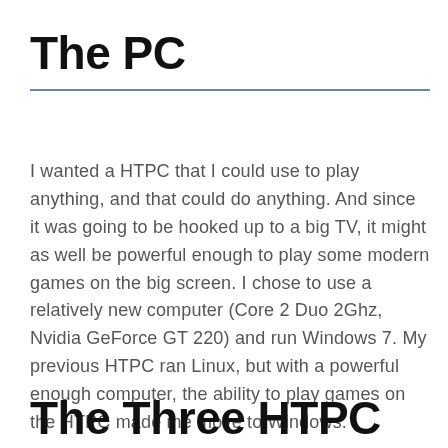The PC
I wanted a HTPC that I could use to play anything, and that could do anything. And since it was going to be hooked up to a big TV, it might as well be powerful enough to play some modern games on the big screen. I chose to use a relatively new computer (Core 2 Duo 2Ghz, Nvidia GeForce GT 220) and run Windows 7. My previous HTPC ran Linux, but with a powerful enough computer, the ability to play games on the HTPC made me move to Windows.
The Three HTPC